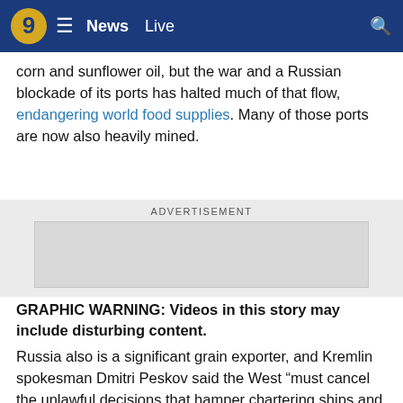9 News Live
corn and sunflower oil, but the war and a Russian blockade of its ports has halted much of that flow, endangering world food supplies. Many of those ports are now also heavily mined.
ADVERTISEMENT
[Figure (other): Advertisement placeholder box]
GRAPHIC WARNING: Videos in this story may include disturbing content.
Russia also is a significant grain exporter, and Kremlin spokesman Dmitri Peskov said the West “must cancel the unlawful decisions that hamper chartering ships and exporting grain.” His comments appeared to be an effort to